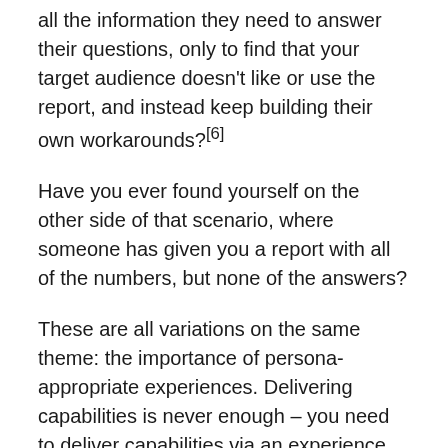all the information they need to answer their questions, only to find that your target audience doesn't like or use the report, and instead keep building their own workarounds?[6]
Have you ever found yourself on the other side of that scenario, where someone has given you a report with all of the numbers, but none of the answers?
These are all variations on the same theme: the importance of persona-appropriate experiences. Delivering capabilities is never enough – you need to deliver capabilities via an experience that works for the people who will use it.